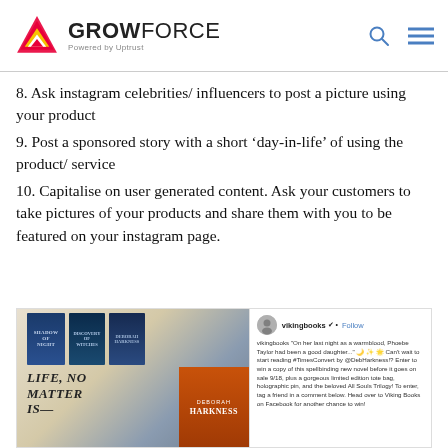[Figure (logo): GrowForce logo — triangular arrow icon in red/pink/yellow with bold text GROWFORCE and tagline 'Powered by Uptrust', plus search and menu icons on the right]
8. Ask instagram celebrities/ influencers to post a picture using your product
9. Post a sponsored story with a short ‘day-in-life’ of using the product/ service
10. Capitalise on user generated content. Ask your customers to take pictures of your products and share them with you to be featured on your instagram page.
[Figure (screenshot): Instagram post screenshot showing a tote bag with books (Shadow, Discovery of Witches) and text 'Life, No Matter How Long' on the bag, with a post from vikingbooks featuring a caption about winning a copy of a Deborah Harkness novel and All Souls Trilogy items.]